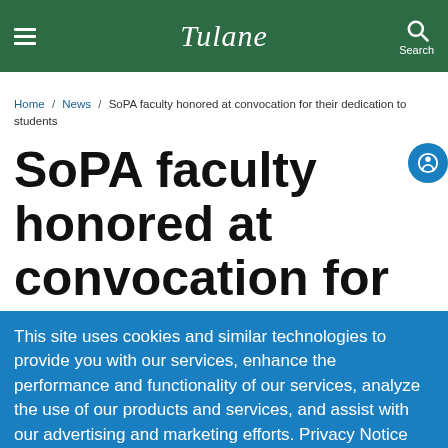Tulane
Home / News / SoPA faculty honored at convocation for their dedication to students
SoPA faculty honored at convocation for
This site uses cookies and similar technologies to provide you with our services, enhance the performance and functionality of our services, analyze the use of our products and services, and assist with our advertising and marketing efforts. Privacy Notice GDPR Privacy Policy